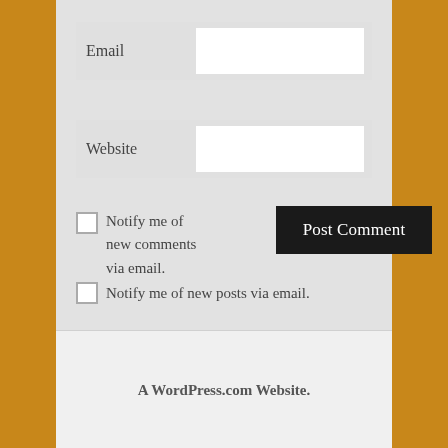[Figure (screenshot): A WordPress.com comment form section showing Email and Website text input fields, a checkbox for 'Notify me of new comments via email.', a checkbox for 'Notify me of new posts via email.', a black 'Post Comment' button, and a footer reading 'A WordPress.com Website.']
Email
Website
Notify me of new comments via email.
Post Comment
Notify me of new posts via email.
A WordPress.com Website.